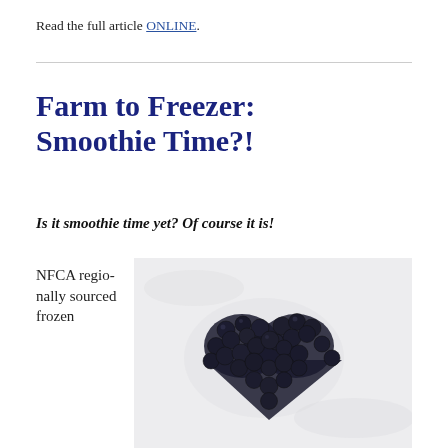Read the full article ONLINE.
Farm to Freezer: Smoothie Time?!
Is it smoothie time yet? Of course it is!
NFCA regionally sourced frozen
[Figure (photo): Frozen dark berries (blueberries) arranged in a heart shape on a white snowy surface]